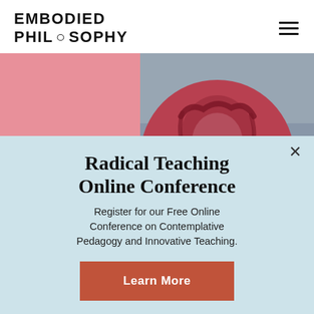[Figure (logo): Embodied Philosophy logo — bold uppercase text reading EMBODIED PHILOSOPHY with a stylized infinity/circle in the O of PHILOSOPHY]
[Figure (photo): Promotional hero image with a pink rectangular background and a circular portrait photo of a smiling person with natural hair, overlaid on a muted blue-grey sky background]
Radical Teaching Online Conference
Register for our Free Online Conference on Contemplative Pedagogy and Innovative Teaching.
Learn More